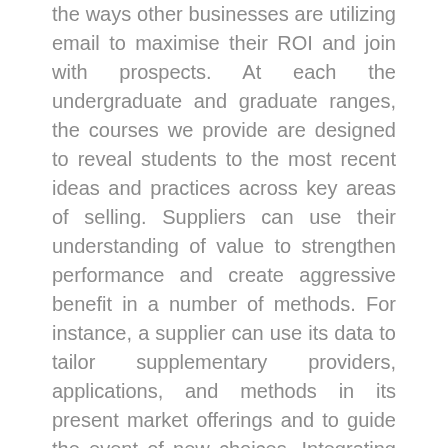the ways other businesses are utilizing email to maximise their ROI and join with prospects. At each the undergraduate and graduate ranges, the courses we provide are designed to reveal students to the most recent ideas and practices across key areas of selling. Suppliers can use their understanding of value to strengthen performance and create aggressive benefit in a number of methods. For instance, a supplier can use its data to tailor supplementary providers, applications, and methods in its present market offerings and to guide the event of new choices. Integrating everything it has learned about value into its marketing efforts, it could also